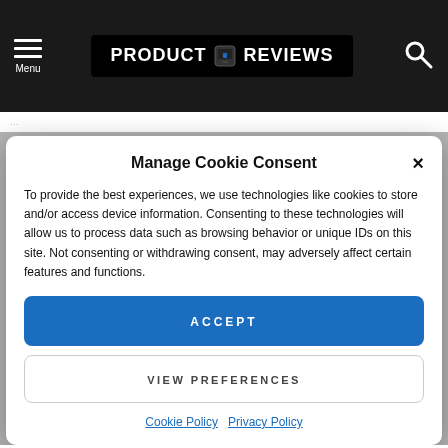Menu | PRODUCT REVIEWS | [search]
Manage Cookie Consent
To provide the best experiences, we use technologies like cookies to store and/or access device information. Consenting to these technologies will allow us to process data such as browsing behavior or unique IDs on this site. Not consenting or withdrawing consent, may adversely affect certain features and functions.
ACCEPT
VIEW PREFERENCES
Cookie Policy  Privacy Policy
*Identifying Monetised Links - outgoing links that we monetise are marked with an '*' symbol.